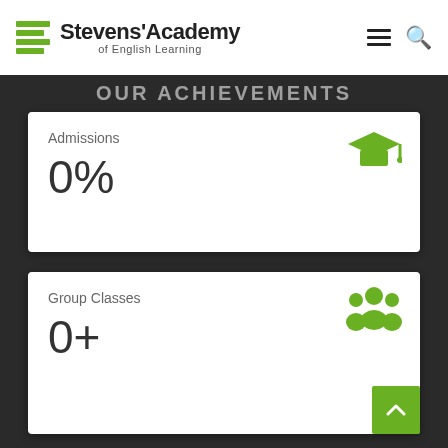[Figure (logo): Stevens' Academy of English Learning logo with green book/lines icon]
OUR ACHIEVEMENTS
Admissions
0%
Group Classes
0+